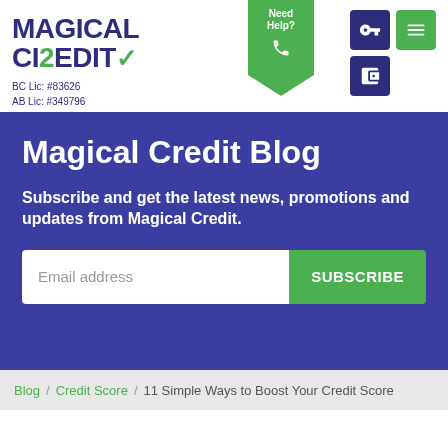[Figure (logo): Magical Credit logo with dark blue text and green checkmark]
BC Lic: #83626
AB Lic: #349796
Magical Credit Blog
Subscribe and get the latest news, promotions and updates from Magical Credit.
Email address
SUBSCRIBE
Blog / Credit Score / 11 Simple Ways to Boost Your Credit Score